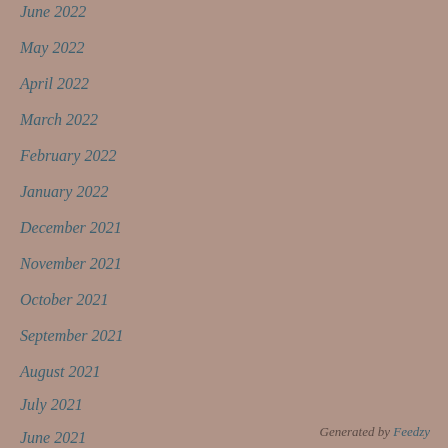June 2022
May 2022
April 2022
March 2022
February 2022
January 2022
December 2021
November 2021
October 2021
September 2021
August 2021
July 2021
June 2021
Generated by Feedzy